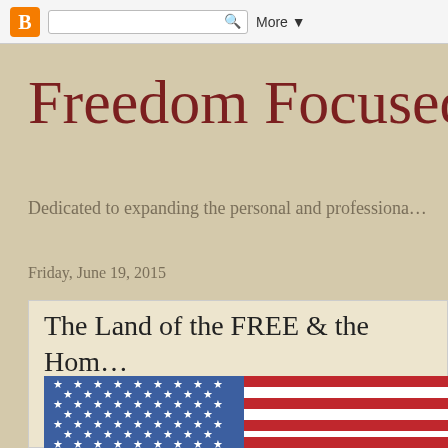Blogger | More
Freedom Focused
Dedicated to expanding the personal and professiona...
Friday, June 19, 2015
The Land of the FREE & the Home of the BRAVE
[Figure (photo): American flag showing blue canton with white stars and red and white stripes]